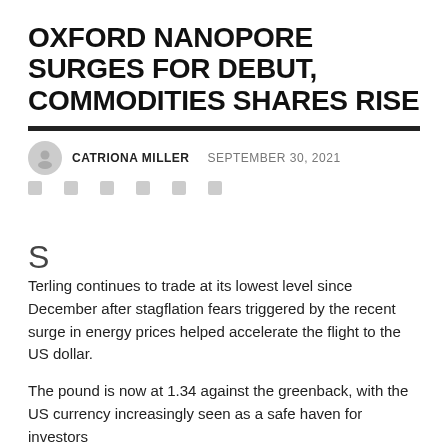OXFORD NANOPORE SURGES FOR DEBUT, COMMODITIES SHARES RISE
CATRIONA MILLER  SEPTEMBER 30, 2021
S
Terling continues to trade at its lowest level since December after stagflation fears triggered by the recent surge in energy prices helped accelerate the flight to the US dollar.
The pound is now at 1.34 against the greenback, with the US currency increasingly seen as a safe haven for investors